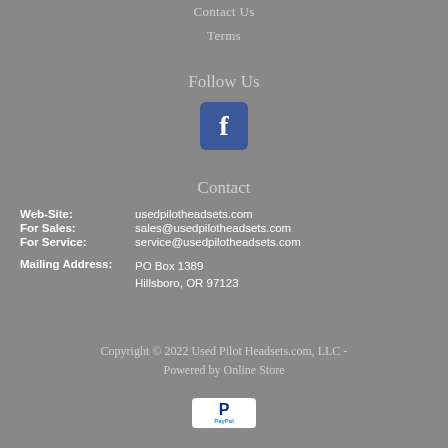Contact Us
Terms
Follow Us
[Figure (logo): Facebook icon - blue square with white letter F]
Contact
Web-Site: usedpilotheadsets.com
For Sales: sales@usedpilotheadsets.com
For Service: service@usedpilotheadsets.com
Mailing Address: PO Box 1389 Hillsboro, OR 97123
Copyright © 2022 Used Pilot Headsets.com, LLC - Powered by Online Store
[Figure (logo): PayPal logo - white rounded rectangle with blue P and PayPal text]